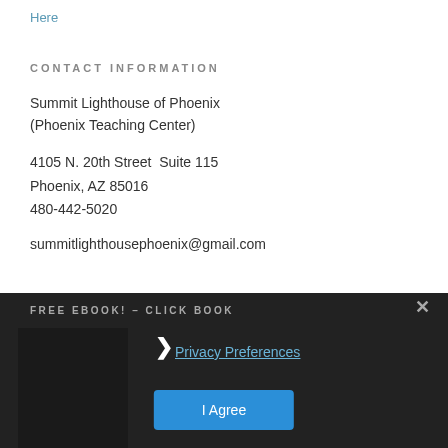Here
CONTACT INFORMATION
Summit Lighthouse of Phoenix
(Phoenix Teaching Center)
4105 N. 20th Street  Suite 115
Phoenix, AZ 85016
480-442-5020
summitlighthousephoenix@gmail.com
FREE EBOOK! – CLICK BOOK
Privacy Preferences
I Agree